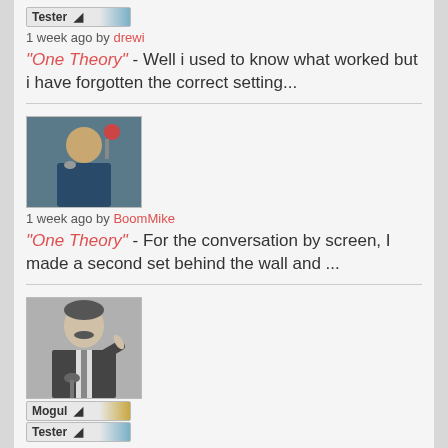[Figure (other): User badge labeled Tester with blue diagonal stripe]
1 week ago by drewi
"One Theory" - Well i used to know what worked but i have forgotten the correct setting...
[Figure (photo): User avatar photo of a man at a microphone/studio setting]
1 week ago by BoomMike
"One Theory" - For the conversation by screen, I made a second set behind the wall and ...
[Figure (photo): User avatar photo of a man in suit pointing finger, black and white]
[Figure (other): User badge labeled Mogul with gold diagonal stripe]
[Figure (other): User badge labeled Tester with blue diagonal stripe]
1 week ago by drewi
"One Theory" - Wonderful craft...scene work exemplary. What are you using to get an ...